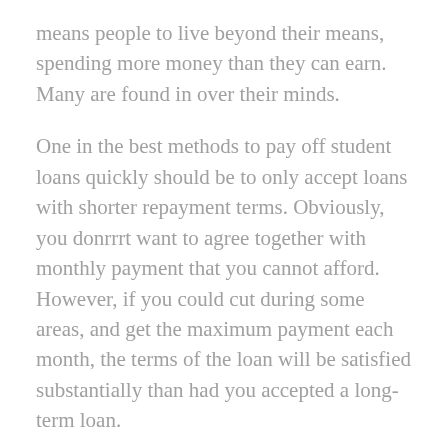means people to live beyond their means, spending more money than they can earn. Many are found in over their minds.
One in the best methods to pay off student loans quickly should be to only accept loans with shorter repayment terms. Obviously, you donrrrt want to agree together with monthly payment that you cannot afford. However, if you could cut during some areas, and get the maximum payment each month, the terms of the loan will be satisfied substantially than had you accepted a long-term loan.
When submitting an application for a loan with no credit check, its vital that understand the two types. Unsecured loans and unsecured car loans. Secured loans are said to secured because lenders expect you to have a collateral. A